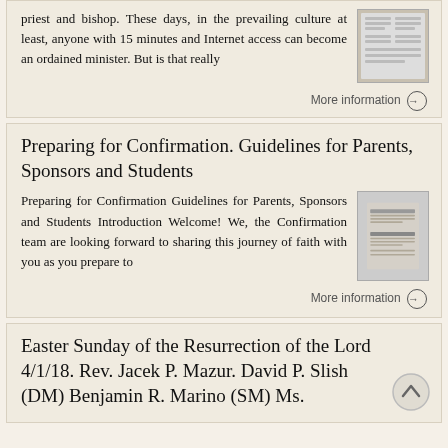priest and bishop. These days, in the prevailing culture at least, anyone with 15 minutes and Internet access can become an ordained minister. But is that really
[Figure (screenshot): Thumbnail image of a document page with text columns]
More information →
Preparing for Confirmation. Guidelines for Parents, Sponsors and Students
Preparing for Confirmation Guidelines for Parents, Sponsors and Students Introduction Welcome! We, the Confirmation team are looking forward to sharing this journey of faith with you as you prepare to
[Figure (screenshot): Thumbnail image of a document with text and lines]
More information →
Easter Sunday of the Resurrection of the Lord 4/1/18. Rev. Jacek P. Mazur. David P. Slish (DM) Benjamin R. Marino (SM) Ms.